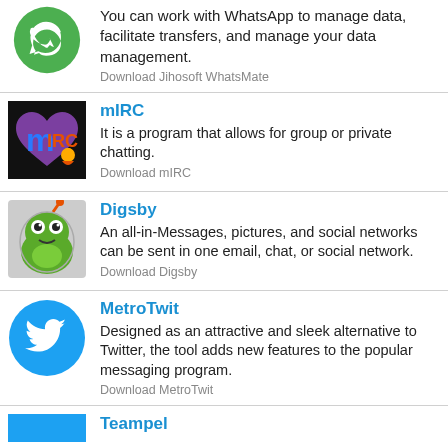You can work with WhatsApp to manage data, facilitate transfers, and manage your data management. Download Jihosoft WhatsMate
mIRC - It is a program that allows for group or private chatting. Download mIRC
Digsby - An all-in-Messages, pictures, and social networks can be sent in one email, chat, or social network. Download Digsby
MetroTwit - Designed as an attractive and sleek alternative to Twitter, the tool adds new features to the popular messaging program. Download MetroTwit
Teampel